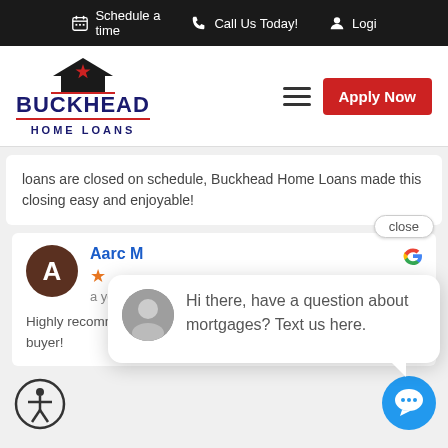Schedule a time  |  Call Us Today!  |  Logi
[Figure (logo): Buckhead Home Loans logo with house icon and red star, red underline, dark blue text]
Apply Now
loans are closed on schedule, Buckhead Home Loans made this closing easy and enjoyable!
Aarc M
a ye
Highly recomm... securing a mo... for a first-time home buyer!
Hi there, have a question about mortgages? Text us here.
close